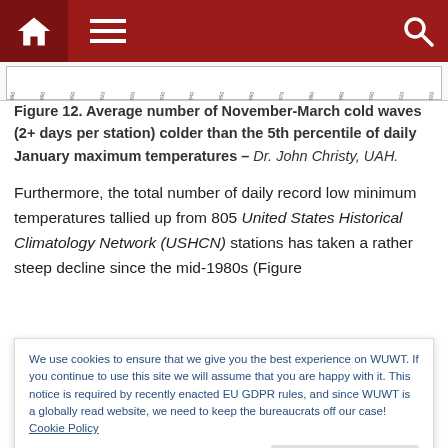[Figure (screenshot): Website navigation bar with dark red background, home icon, hamburger menu, and search icon]
[Figure (continuous-plot): Partial time-series chart showing year labels from 1880s to 2010s along x-axis]
Figure 12. Average number of November-March cold waves (2+ days per station) colder than the 5th percentile of daily January maximum temperatures – Dr. John Christy, UAH.
Furthermore, the total number of daily record low minimum temperatures tallied up from 805 United States Historical Climatology Network (USHCN) stations has taken a rather steep decline since the mid-1980s (Figure
We use cookies to ensure that we give you the best experience on WUWT. If you continue to use this site we will assume that you are happy with it. This notice is required by recently enacted EU GDPR rules, and since WUWT is a globally read website, we need to keep the bureaucrats off our case! Cookie Policy
1895-2017 (Min 100 years of observations)